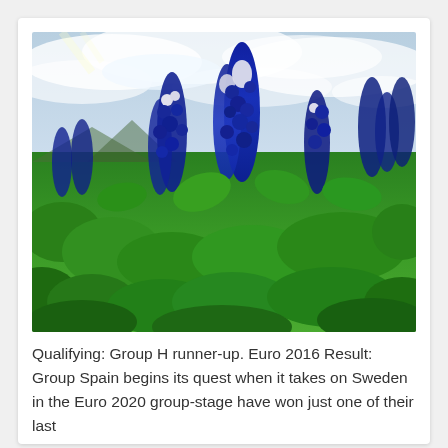[Figure (photo): Close-up photograph of blue lupine flowers (bluebonnets) in full bloom against a cloudy sky, with lush green foliage throughout the field.]
Qualifying: Group H runner-up. Euro 2016 Result: Group Spain begins its quest when it takes on Sweden in the Euro 2020 group-stage have won just one of their last